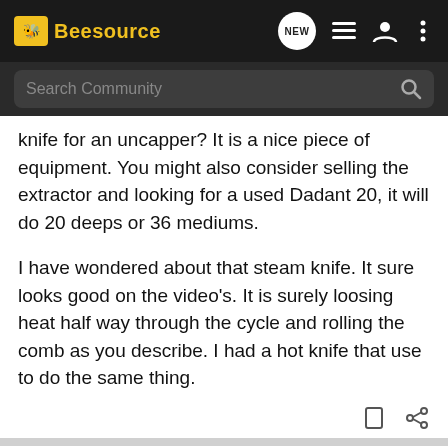Beesource
knife for an uncapper? It is a nice piece of equipment. You might also consider selling the extractor and looking for a used Dadant 20, it will do 20 deeps or 36 mediums.

I have wondered about that steam knife. It sure looks good on the video's. It is surely loosing heat half way through the cycle and rolling the comb as you describe. I had a hot knife that use to do the same thing.
bwilson · Registered 🇺🇸
[Figure (screenshot): Chevrolet Silverado HD advertisement banner with text: SILVERADO HD, FLEX YOUR WORK MUSCLES. Available Multi-Flex Tailgate. Chevrolet Silverado HD logo.]